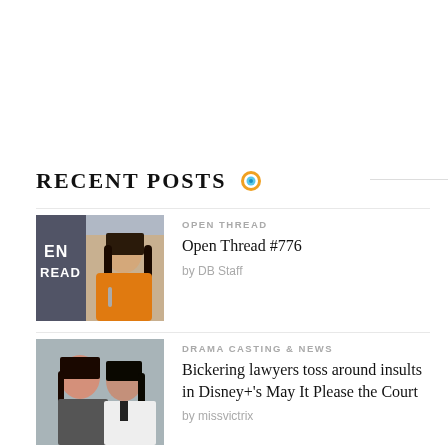RECENT POSTS
[Figure (photo): Thumbnail of a girl in an orange shirt holding a fork, with text overlay 'OPEN THREAD / READ']
OPEN THREAD
Open Thread #776
by DB Staff
[Figure (photo): Thumbnail of a man and woman facing each other for a drama casting photo]
DRAMA CASTING & NEWS
Bickering lawyers toss around insults in Disney+'s May It Please the Court
by missvictrix